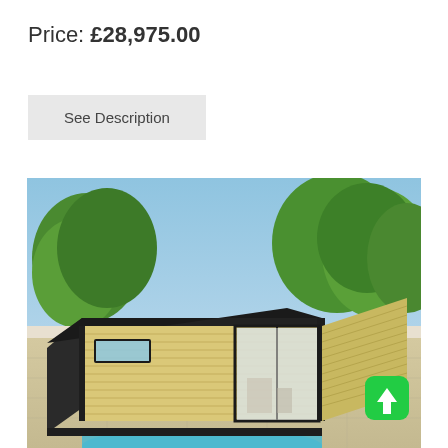Price: £28,975.00
See Description
[Figure (photo): A modern garden room / studio cabin with horizontal light wood cladding and dark metal frame, featuring a large sliding glass door on the right side and a small horizontal window on the left. Set in an outdoor garden environment with trees, patio, and a pool edge visible in the foreground. A green scroll-to-top button with an upward arrow is overlaid in the bottom-right corner.]